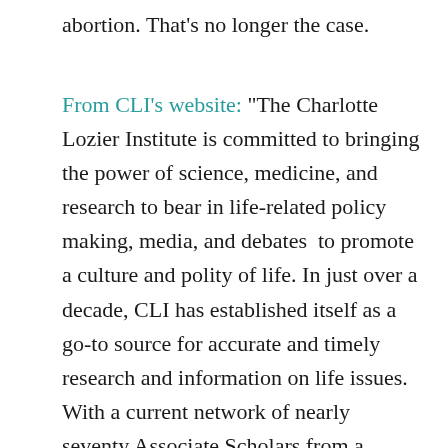abortion. That's no longer the case.
From CLI's website: "The Charlotte Lozier Institute is committed to bringing the power of science, medicine, and research to bear in life-related policy making, media, and debates to promote a culture and polity of life. In just over a decade, CLI has established itself as a go-to source for accurate and timely research and information on life issues. With a current network of nearly seventy Associate Scholars from a variety of disciplines, CLI provides pro-life groups and policy makers research-based information of the highest quality on issues including abortion, women's health, prenatal diagnosis and treatment for the unborn, perinatal hospice, abortion reporting, sex-selection abortion, stem cell research and